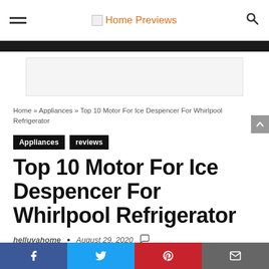Home Previews
Home » Appliances » Top 10 Motor For Ice Despencer For Whirlpool Refrigerator
Appliances
reviews
Top 10 Motor For Ice Despencer For Whirlpool Refrigerator
helluvahome • August 29, 2020